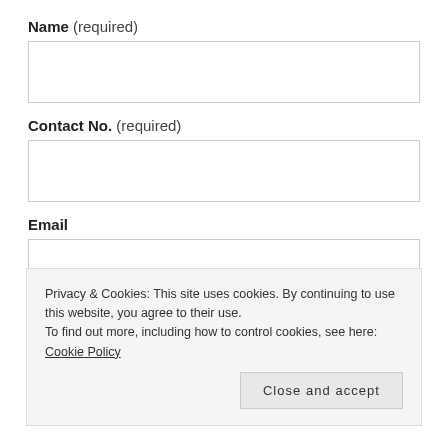Name (required)
Contact No. (required)
Email
Privacy & Cookies: This site uses cookies. By continuing to use this website, you agree to their use.
To find out more, including how to control cookies, see here: Cookie Policy
Close and accept